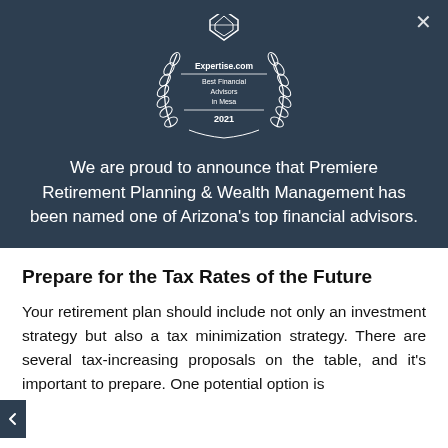[Figure (logo): Expertise.com badge: Best Financial Advisors in Mesa 2021, white laurel wreath design on dark navy background]
We are proud to announce that Premiere Retirement Planning & Wealth Management has been named one of Arizona's top financial advisors.
Prepare for the Tax Rates of the Future
Your retirement plan should include not only an investment strategy but also a tax minimization strategy. There are several tax-increasing proposals on the table, and it's important to prepare. One potential option is